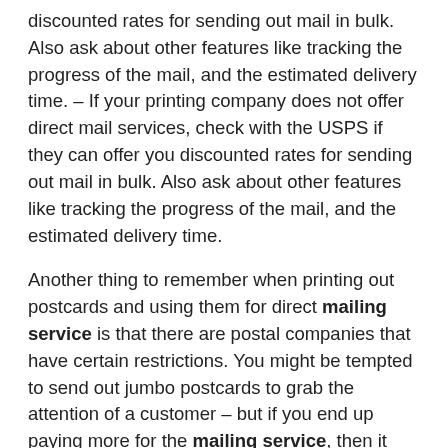discounted rates for sending out mail in bulk. Also ask about other features like tracking the progress of the mail, and the estimated delivery time. – If your printing company does not offer direct mail services, check with the USPS if they can offer you discounted rates for sending out mail in bulk. Also ask about other features like tracking the progress of the mail, and the estimated delivery time.
Another thing to remember when printing out postcards and using them for direct mailing service is that there are postal companies that have certain restrictions. You might be tempted to send out jumbo postcards to grab the attention of a customer – but if you end up paying more for the mailing service, then it might be a better idea to stick with the standard sizes and just focus on content.
By doing your research, you can launch a successful direct mail marketing campaign using postcards, without being surprised by hidden costs.